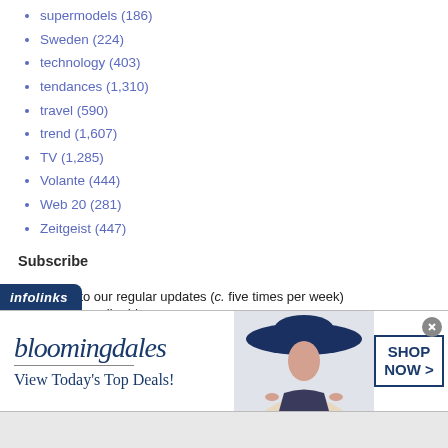supermodels (186)
Sweden (224)
technology (403)
tendances (1,310)
travel (590)
trend (1,607)
TV (1,285)
Volante (444)
Web 20 (281)
Zeitgeist (447)
Subscribe
Subscribe to our regular updates (c. five times per week)
Enter your email address:
[Figure (screenshot): Subscribe form with email input field and Subscribe button, followed by Preview | Powered by FeedBlitz line]
[Figure (infographic): Bloomingdale's advertisement banner with infolinks bar, logo, View Today's Top Deals tagline, model in hat, and SHOP NOW > CTA box]